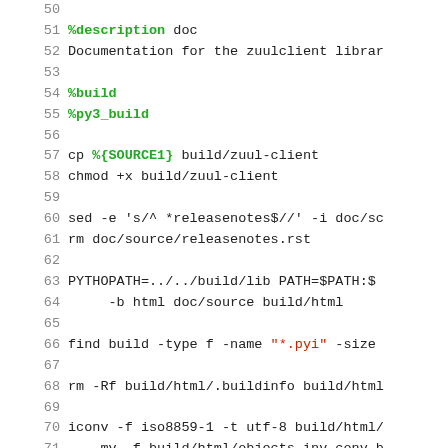50
51 %description doc
52 Documentation for the zuulclient librar
53
54 %build
55 %py3_build
56
57 cp %{SOURCE1} build/zuul-client
58 chmod +x build/zuul-client
59
60 sed -e 's/^ *releasenotes$//' -i doc/sc
61 rm doc/source/releasenotes.rst
62
63 PYTHOPATH=../../build/lib PATH=$PATH:$
64     -b html doc/source build/html
65
66 find build -type f -name "*.pyi" -size
67
68 rm -Rf build/html/.buildinfo build/html
69
70 iconv -f iso8859-1 -t utf-8 build/html/
71     mv -f build/html/objects.inv.conv b
72
73 sed -i 's/\r$//' LICENSE